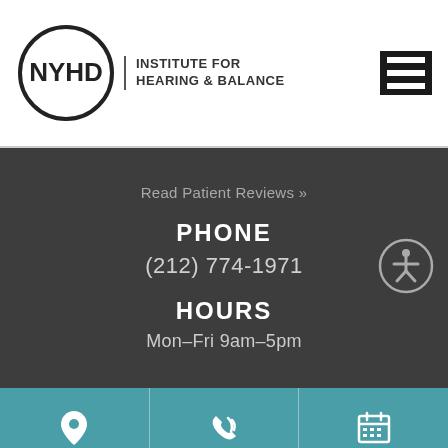[Figure (logo): NYHD Institute for Hearing & Balance logo with circular NYHD text and vertical bar separator]
[Figure (other): Hamburger menu icon (three horizontal white bars on black background)]
Read Patient Reviews »
PHONE
(212) 774-1971
[Figure (other): Accessibility icon - person in circle outline]
HOURS
Mon–Fri 9am–5pm
LOCATE US
CONTACT US
CONSULTATION